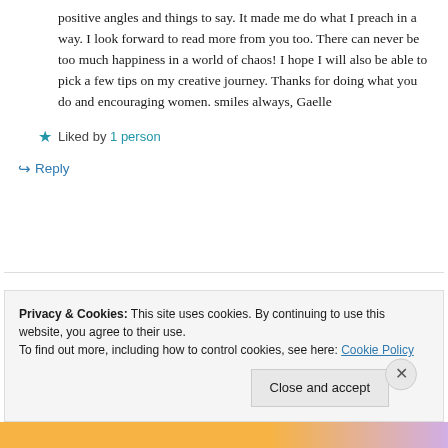positive angles and things to say. It made me do what I preach in a way. I look forward to read more from you too. There can never be too much happiness in a world of chaos! I hope I will also be able to pick a few tips on my creative journey. Thanks for doing what you do and encouraging women. smiles always, Gaelle
★ Liked by 1 person
↪ Reply
Privacy & Cookies: This site uses cookies. By continuing to use this website, you agree to their use. To find out more, including how to control cookies, see here: Cookie Policy
Close and accept